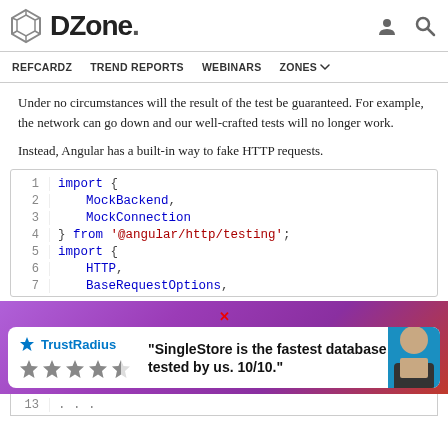DZone. [navigation icons]
REFCARDZ   TREND REPORTS   WEBINARS   ZONES
Under no circumstances will the result of the test be guaranteed. For example, the network can go down and our well-crafted tests will no longer work.
Instead, Angular has a built-in way to fake HTTP requests.
[Figure (screenshot): Code block showing Angular HTTP testing imports: import { MockBackend, MockConnection } from '@angular/http/testing'; import { HTTP, BaseRequestOptions,]
[Figure (screenshot): TrustRadius advertisement: 'SingleStore is the fastest database ever tested by us. 10/10.']
13  ...